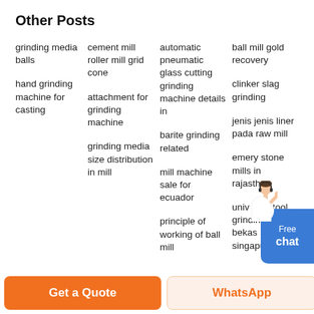Other Posts
grinding media balls
cement mill roller mill grid cone
automatic pneumatic glass cutting grinding machine details in
ball mill gold recovery
hand grinding machine for casting
attachment for grinding machine
barite grinding related
clinker slag grinding
grinding media size distribution in mill
mill machine sale for ecuador
jenis jenis liner pada raw mill
principle of working of ball mill
emery stone mills in rajasthan
universal tool grinding m40 bekas singapura
[Figure (illustration): Person with headset (customer support) above Free chat button]
Get a Quote
WhatsApp